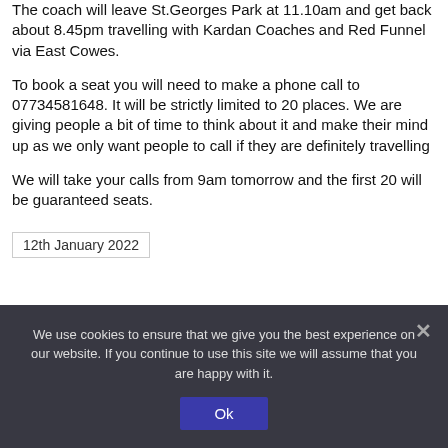The coach will leave St.Georges Park at 11.10am and get back about 8.45pm travelling with Kardan Coaches and Red Funnel via East Cowes.
To book a seat you will need to make a phone call to 07734581648. It will be strictly limited to 20 places. We are giving people a bit of time to think about it and make their mind up as we only want people to call if they are definitely travelling
We will take your calls from 9am tomorrow and the first 20 will be guaranteed seats.
12th January 2022
We use cookies to ensure that we give you the best experience on our website. If you continue to use this site we will assume that you are happy with it.
Ok